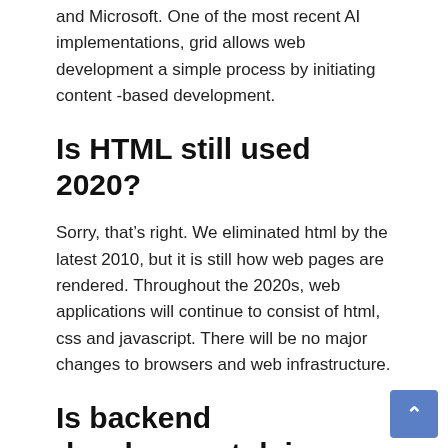and Microsoft. One of the most recent AI implementations, grid allows web development a simple process by initiating content -based development.
Is HTML still used 2020?
Sorry, that’s right. We eliminated html by the latest 2010, but it is still how web pages are rendered. Throughout the 2020s, web applications will continue to consist of html, css and javascript. There will be no major changes to browsers and web infrastructure.
Is backend development dying 2020?